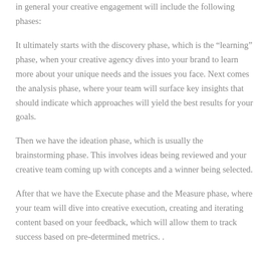in general your creative engagement will include the following phases:
It ultimately starts with the discovery phase, which is the “learning” phase, when your creative agency dives into your brand to learn more about your unique needs and the issues you face. Next comes the analysis phase, where your team will surface key insights that should indicate which approaches will yield the best results for your goals.
Then we have the ideation phase, which is usually the brainstorming phase. This involves ideas being reviewed and your creative team coming up with concepts and a winner being selected.
After that we have the Execute phase and the Measure phase, where your team will dive into creative execution, creating and iterating content based on your feedback, which will allow them to track success based on pre-determined metrics. .